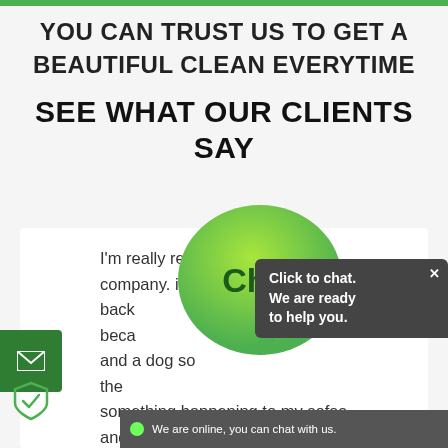YOU CAN TRUST US TO GET A BEAUTIFUL CLEAN EVERYTIME
SEE WHAT OUR CLIENTS SAY
I'm really really pleased with this company. i know I'm going to call them back because and a dog so the something happening to my sofas and carpets. I
[Figure (screenshot): Live chat bubble overlay with green speech bubble labeled 'Chat', a dark grey popup reading 'Click to chat. We are ready to help you.' with an X close button, and a dark bottom bar reading 'We are online, you can chat with us.' with a green dot indicator.]
[Figure (illustration): Green envelope icon button on the left side]
[Figure (illustration): Shield with check icon at bottom left]